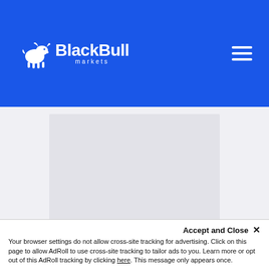[Figure (logo): BlackBull Markets logo - white bull icon with BlackBull Markets text on blue header background]
[Figure (other): Gray advertisement placeholder block]
How will TWTR’s price react to court saga?
Accept and Close ×
Your browser settings do not allow cross-site tracking for advertising. Click on this page to allow AdRoll to use cross-site tracking to tailor ads to you. Learn more or opt out of this AdRoll tracking by clicking here. This message only appears once.